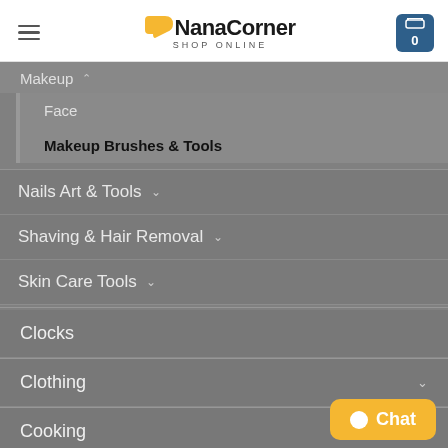NanaCorner SHOP ONLINE
Makeup
Face
Makeup Brushes & Tools
Nails Art & Tools
Shaving & Hair Removal
Skin Care Tools
Clocks
Clothing
Cooking
Furniture
Home Decor